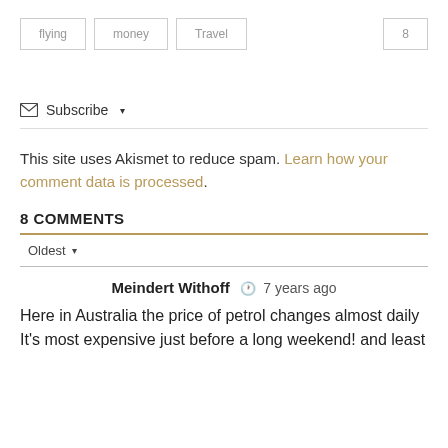flying
money
Travel
8
Subscribe ▾
This site uses Akismet to reduce spam. Learn how your comment data is processed.
8 COMMENTS
Oldest ▾
Meindert Withoff  7 years ago
Here in Australia the price of petrol changes almost daily It's most expensive just before a long weekend! and least expensive on Tuesday night...